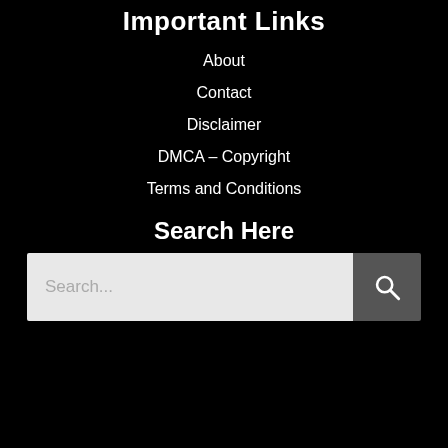Important Links
About
Contact
Disclaimer
DMCA – Copyright
Terms and Conditions
Search Here
[Figure (other): Search bar with text input area showing placeholder 'Search...' and a dark search button with magnifying glass icon]